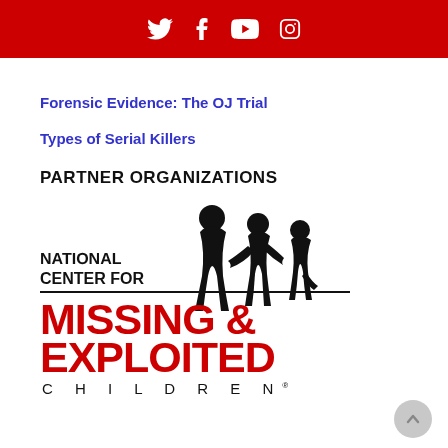Social media icons: Twitter, Facebook, YouTube, Instagram
Forensic Evidence: The OJ Trial
Types of Serial Killers
PARTNER ORGANIZATIONS
[Figure (logo): National Center for Missing & Exploited Children logo with silhouette of three children holding hands]